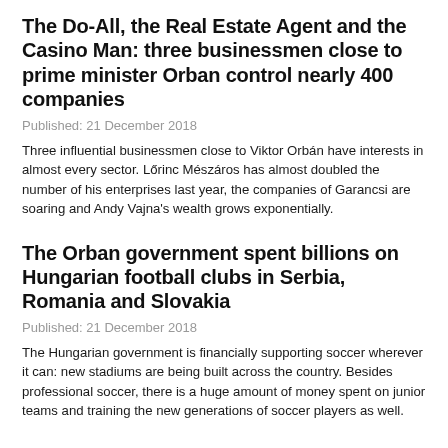The Do-All, the Real Estate Agent and the Casino Man: three businessmen close to prime minister Orban control nearly 400 companies
Published: 21 December 2018
Three influential businessmen close to Viktor Orbán have interests in almost every sector. Lőrinc Mészáros has almost doubled the number of his enterprises last year, the companies of Garancsi are soaring and Andy Vajna's wealth grows exponentially.
The Orban government spent billions on Hungarian football clubs in Serbia, Romania and Slovakia
Published: 21 December 2018
The Hungarian government is financially supporting soccer wherever it can: new stadiums are being built across the country. Besides professional soccer, there is a huge amount of money spent on junior teams and training the new generations of soccer players as well.